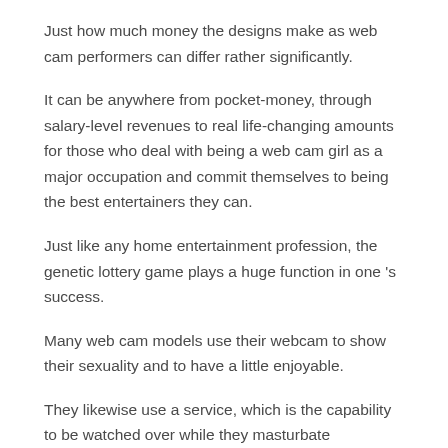Just how much money the designs make as web cam performers can differ rather significantly.
It can be anywhere from pocket-money, through salary-level revenues to real life-changing amounts for those who deal with being a web cam girl as a major occupation and commit themselves to being the best entertainers they can.
Just like any home entertainment profession, the genetic lottery game plays a huge function in one 's success.
Many web cam models use their webcam to show their sexuality and to have a little enjoyable.
They likewise use a service, which is the capability to be watched over while they masturbate themselves or view other people masturbating. How To Make Your Music Sound Good Over Chaturbate